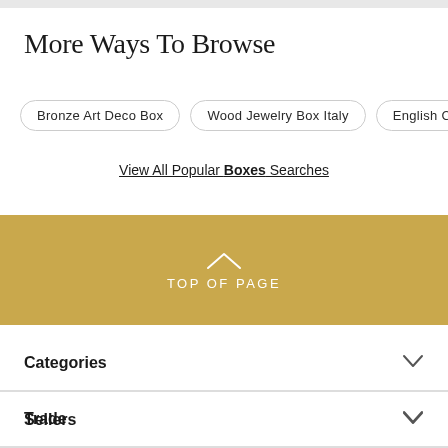More Ways To Browse
Bronze Art Deco Box
Wood Jewelry Box Italy
English Can…
View All Popular Boxes Searches
TOP OF PAGE
Categories
Trade
Sellers